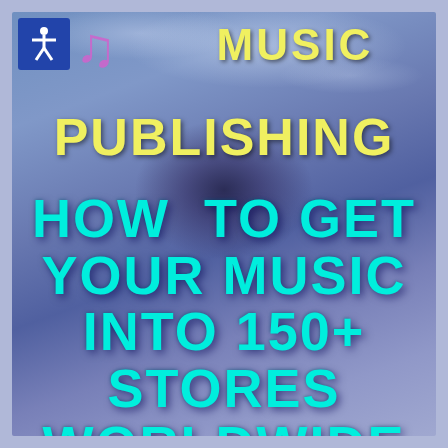[Figure (illustration): Book cover with blue-purple cloudy sky background and a dark vortex/spiral center. Features an accessibility icon (white person figure on blue square), a music note symbol, and bold text. Top text in yellow reads 'MUSIC PUBLISHING', lower text in cyan/turquoise reads 'HOW TO GET YOUR MUSIC INTO 150+ STORES WORLDWIDE'.]
MUSIC PUBLISHING
HOW TO GET YOUR MUSIC INTO 150+ STORES WORLDWIDE